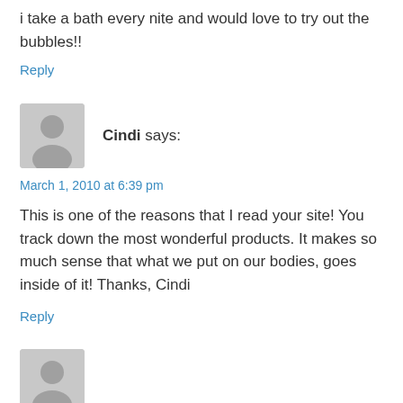i take a bath every nite and would love to try out the bubbles!!
Reply
[Figure (illustration): Generic user avatar silhouette — grey circle head and torso on grey square background]
Cindi says:
March 1, 2010 at 6:39 pm
This is one of the reasons that I read your site! You track down the most wonderful products. It makes so much sense that what we put on our bodies, goes inside of it! Thanks, Cindi
Reply
[Figure (illustration): Generic user avatar silhouette — partial grey square visible at bottom of page]